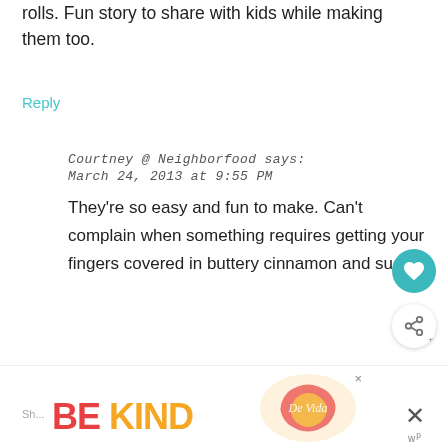rolls. Fun story to share with kids while making them too.
Reply
Courtney @ Neighborfood says:
March 24, 2013 at 9:55 PM
They're so easy and fun to make. Can't complain when something requires getting your fingers covered in buttery cinnamon and sugar!
Reply
[Figure (infographic): BE KIND advertisement banner with decorative logo and close buttons]